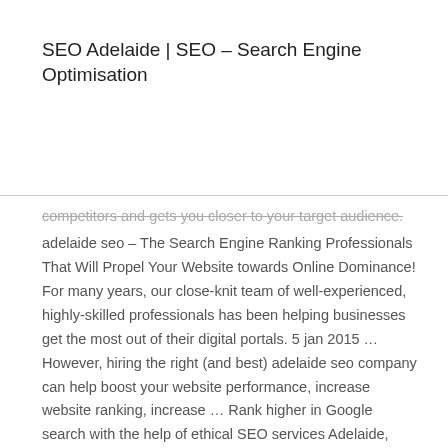SEO Adelaide | SEO – Search Engine Optimisation
competitors and gets you closer to your target audience.
adelaide seo – The Search Engine Ranking Professionals That Will Propel Your Website towards Online Dominance! For many years, our close-knit team of well-experienced, highly-skilled professionals has been helping businesses get the most out of their digital portals. 5 jan 2015 … However, hiring the right (and best) adelaide seo company can help boost your website performance, increase website ranking, increase … Rank higher in Google search with the help of ethical SEO services Adelaide, offered by SEO4LEADS – Best SEO Company in Adelaide, Australia. Request a … SEO is an integral part of web marketing strategies, and also plays a significant role in local business promotion. We help our clients in Adelaide to provide them …